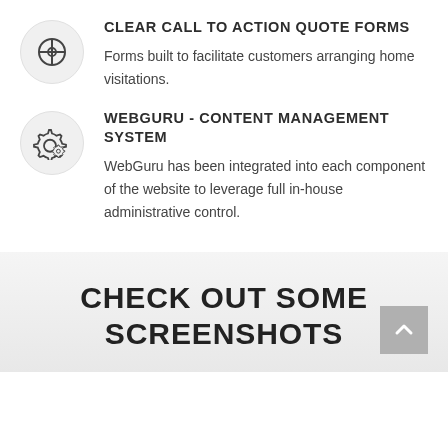CLEAR CALL TO ACTION QUOTE FORMS
Forms built to facilitate customers arranging home visitations.
WEBGURU - CONTENT MANAGEMENT SYSTEM
WebGuru has been integrated into each component of the website to leverage full in-house administrative control.
CHECK OUT SOME SCREENSHOTS